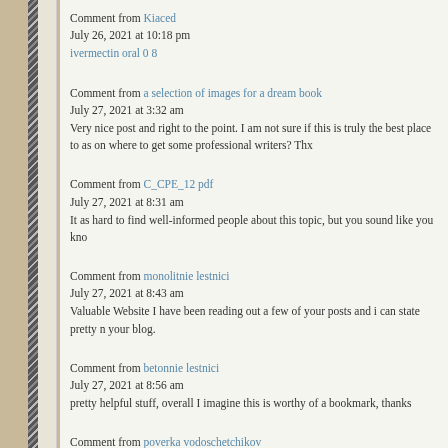Comment from Kiaced
July 26, 2021 at 10:18 pm

ivermectin oral 0 8
Comment from a selection of images for a dream book
July 27, 2021 at 3:32 am

Very nice post and right to the point. I am not sure if this is truly the best place to as on where to get some professional writers? Thx
Comment from C_CPE_12 pdf
July 27, 2021 at 8:31 am

It as hard to find well-informed people about this topic, but you sound like you kno
Comment from monolitnie lestnici
July 27, 2021 at 8:43 am

Valuable Website I have been reading out a few of your posts and i can state pretty n your blog.
Comment from betonnie lestnici
July 27, 2021 at 8:56 am

pretty helpful stuff, overall I imagine this is worthy of a bookmark, thanks
Comment from poverka vodoschetchikov
July 27, 2021 at ...